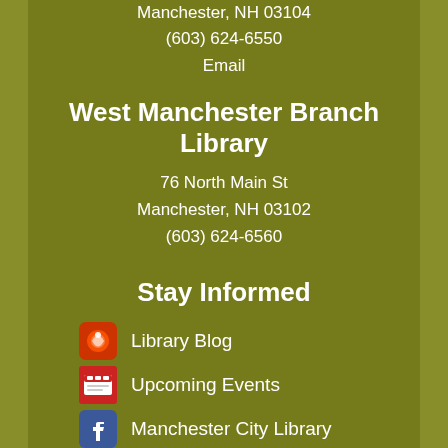Manchester, NH 03104
(603) 624-6550
Email
West Manchester Branch Library
76 North Main St
Manchester, NH 03102
(603) 624-6560
Stay Informed
Library Blog
Upcoming Events
Manchester City Library
@manchlibrary
Manchester Library Photos